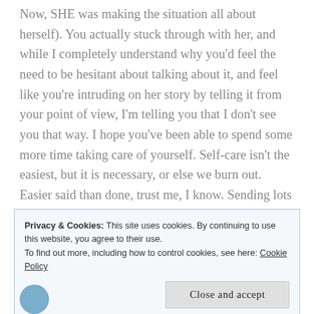Now, SHE was making the situation all about herself). You actually stuck through with her, and while I completely understand why you'd feel the need to be hesitant about talking about it, and feel like you're intruding on her story by telling it from your point of view, I'm telling you that I don't see you that way. I hope you've been able to spend some more time taking care of yourself. Self-care isn't the easiest, but it is necessary, or else we burn out. Easier said than done, trust me, I know. Sending lots of love and hugs your way. Keep writing from the heart.
Privacy & Cookies: This site uses cookies. By continuing to use this website, you agree to their use. To find out more, including how to control cookies, see here: Cookie Policy
Close and accept